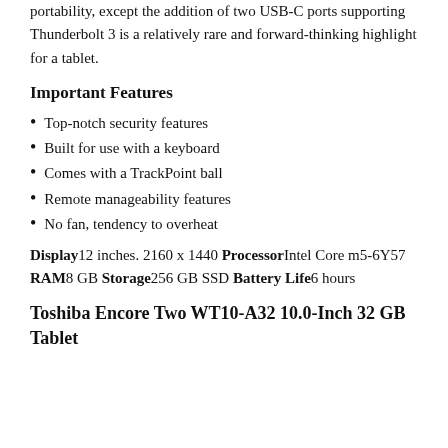portability, except the addition of two USB-C ports supporting Thunderbolt 3 is a relatively rare and forward-thinking highlight for a tablet.
Important Features
Top-notch security features
Built for use with a keyboard
Comes with a TrackPoint ball
Remote manageability features
No fan, tendency to overheat
Display 12 inches. 2160 x 1440 Processor Intel Core m5-6Y57 RAM 8 GB Storage 256 GB SSD Battery Life 6 hours
Toshiba Encore Two WT10-A32 10.0-Inch 32 GB Tablet